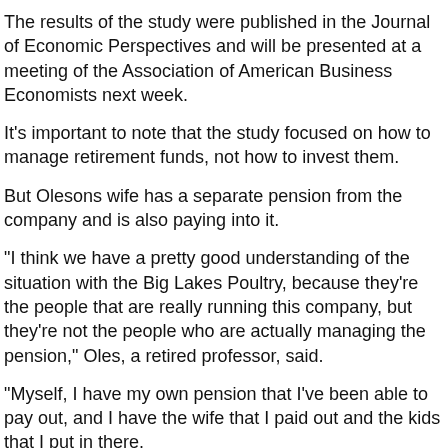The results of the study were published in the Journal of Economic Perspectives and will be presented at a meeting of the Association of American Business Economists next week.
It's important to note that the study focused on how to manage retirement funds, not how to invest them.
But Olesons wife has a separate pension from the company and is also paying into it.
"I think we have a pretty good understanding of the situation with the Big Lakes Poultry, because they're the people that are really running this company, but they're not the people who are actually managing the pension," Oles, a retired professor, said.
"Myself, I have my own pension that I've been able to pay out, and I have the wife that I paid out and the kids that I put in there.
So it's kind of the same thing."
To be sure, a pension fund can be beneficial for people who have had success in their career.